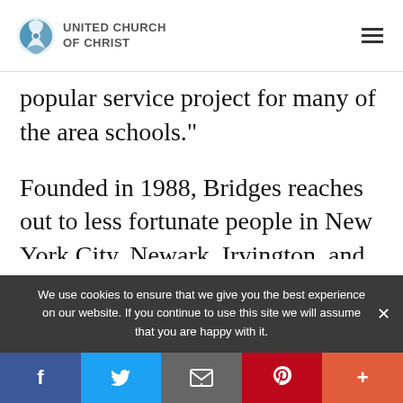UNITED CHURCH OF CHRIST
popular service project for many of the area schools."
Founded in 1988, Bridges reaches out to less fortunate people in New York City, Newark, Irvington, and Summit, New Jersey every week.
We use cookies to ensure that we give you the best experience on our website. If you continue to use this site we will assume that you are happy with it.